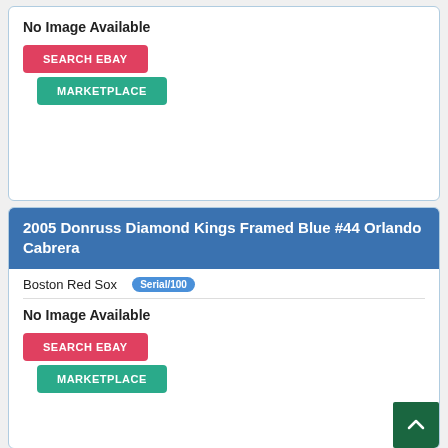No Image Available
SEARCH EBAY
MARKETPLACE
2005 Donruss Diamond Kings Framed Blue #44 Orlando Cabrera
Boston Red Sox  Serial/100
No Image Available
SEARCH EBAY
MARKETPLACE